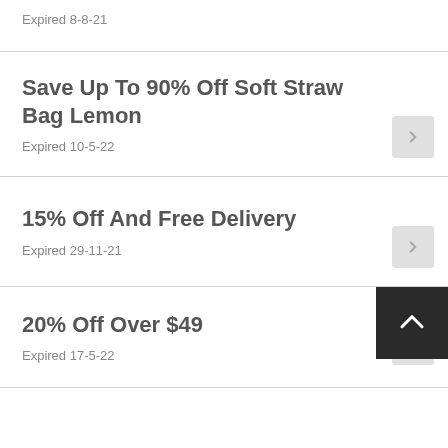Expired 8-8-21
Save Up To 90% Off Soft Straw Bag Lemon
Expired 10-5-22
15% Off And Free Delivery
Expired 29-11-21
20% Off Over $49
Expired 17-5-22